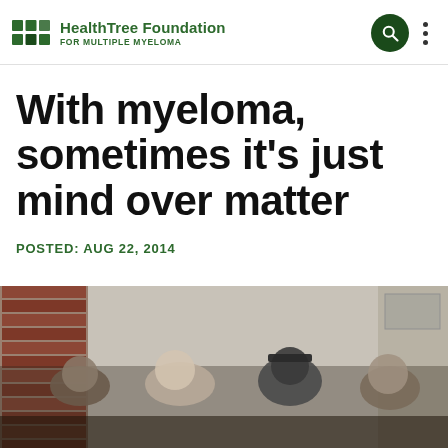HealthTree Foundation FOR MULTIPLE MYELOMA
With myeloma, sometimes it's just mind over matter
POSTED: AUG 22, 2014
[Figure (photo): Group of people seated or standing outside a brick and concrete building, cropped at the bottom of the page]